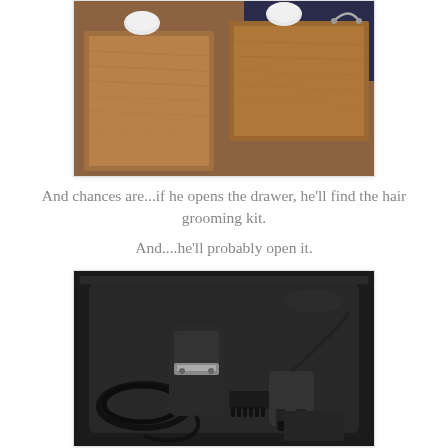[Figure (photo): Photo of wooden drawers with white ceramic knobs and a metal handle, viewed from an angle on a dark surface.]
And chances are...if he opens the drawer, he'll find the hair grooming kit.
And....he'll probably open it.
[Figure (photo): Photo of an open black travel case containing a hair clipper, cord, attachments, and a power adapter.]